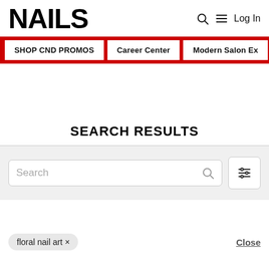NAILS | Log In
SHOP CND PROMOS | Career Center | Modern Salon Ex
SEARCH RESULTS
Search
floral nail art ×
Close